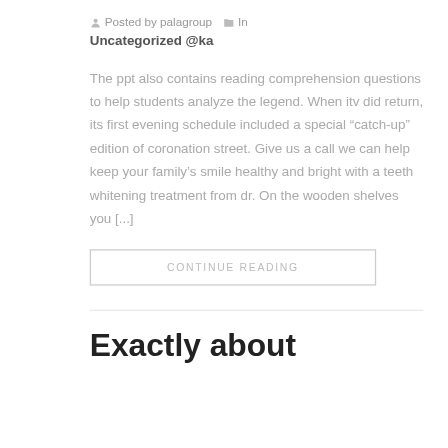Posted by palagroup   In
Uncategorized @ka
The ppt also contains reading comprehension questions to help students analyze the legend. When itv did return, its first evening schedule included a special “catch-up” edition of coronation street. Give us a call we can help keep your family’s smile healthy and bright with a teeth whitening treatment from dr. On the wooden shelves you [...]
CONTINUE READING
Exactly about